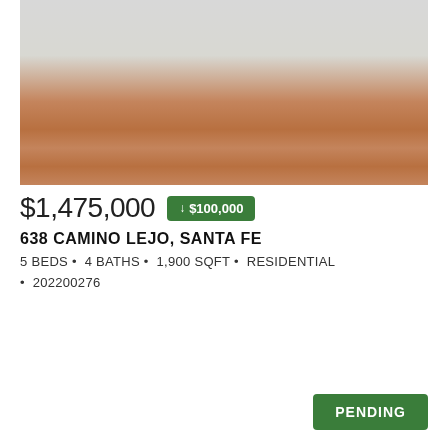[Figure (photo): Interior living room photo showing sofas, coffee table, area rugs, bookcase, and wood-burning stove on terracotta tile floor]
$1,475,000 ↓ $100,000
638 CAMINO LEJO, SANTA FE
5 BEDS • 4 BATHS • 1,900 SQFT • RESIDENTIAL • 202200276
PENDING